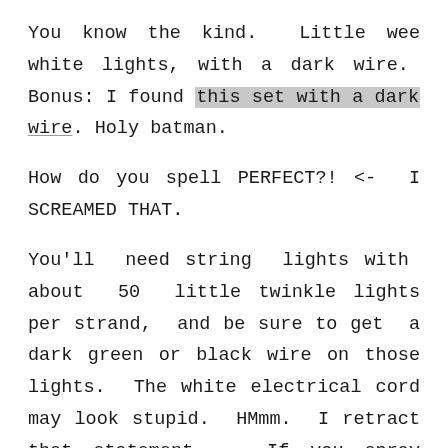You know the kind. Little wee white lights, with a dark wire. Bonus: I found this set with a dark wire. Holy batman.
How do you spell PERFECT?! <- I SCREAMED THAT.
You'll need string lights with about 50 little twinkle lights per strand, and be sure to get a dark green or black wire on those lights. The white electrical cord may look stupid. HMmm. I retract that statement. If you spray paint your